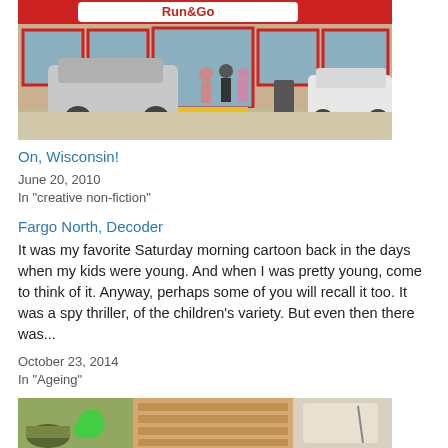[Figure (photo): Exterior of a Run & Go convenience store with a silver SUV and white car parked in front, and several people standing near the entrance.]
On, Wisconsin!
June 20, 2010
In "creative non-fiction"
Fargo North, Decoder
It was my favorite Saturday morning cartoon back in the days when my kids were young. And when I was pretty young, come to think of it. Anyway, perhaps some of you will recall it too. It was a spy thriller, of the children's variety. But even then there was...
October 23, 2014
In "Ageing"
[Figure (photo): A cluttered scene showing a green toy dinosaur, wooden boards, and a white chair cushion or car seat.]